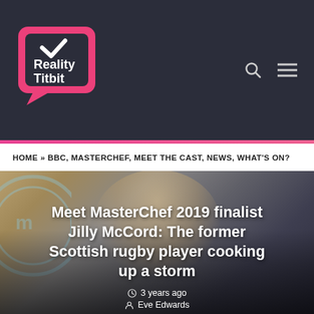[Figure (logo): Reality Titbit logo — white text on dark navy background with pink speech-bubble style TV icon with checkmark]
HOME » BBC, MASTERCHEF, MEET THE CAST, NEWS, WHAT'S ON?
[Figure (photo): Photo of Jilly McCord, MasterChef 2019 finalist, a blonde woman with short hair standing in front of MasterChef branding/set, overlaid with article headline text]
Meet MasterChef 2019 finalist Jilly McCord: The former Scottish rugby player cooking up a storm
3 years ago
Eve Edwards